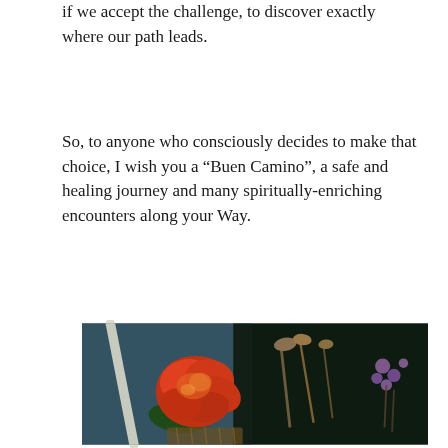if we accept the challenge, to discover exactly where our path leads.
So, to anyone who consciously decides to make that choice, I wish you a “Buen Camino”, a safe and healing journey and many spiritually-enriching encounters along your Way.
[Figure (photo): A photo of flowers — a large red/orange rose and dried purple wildflowers — resting against a blue backpack with a white rope strap, in a dark setting.]